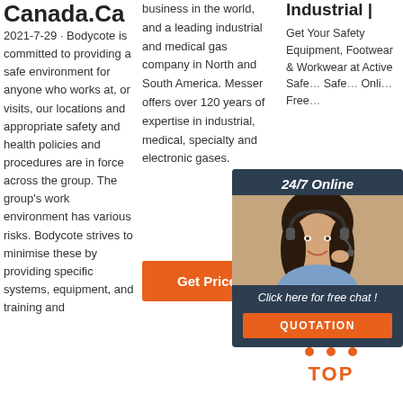Canada.Ca
2021-7-29 · Bodycote is committed to providing a safe environment for anyone who works at, or visits, our locations and appropriate safety and health policies and procedures are in force across the group. The group's work environment has various risks. Bodycote strives to minimise these by providing specific systems, equipment, and training and
business in the world, and a leading industrial and medical gas company in North and South America. Messer offers over 120 years of expertise in industrial, medical, specialty and electronic gases.
Get Price
Industrial |
Get Your Safety Equipment, Footwear & Workwear at Active Safety. Safety Equipment Online. Free...
[Figure (infographic): Chat widget with woman wearing headset, dark background panel, '24/7 Online' header, 'Click here for free chat!' text, and orange QUOTATION button]
[Figure (logo): Orange dots arranged in triangle above orange text TOP]